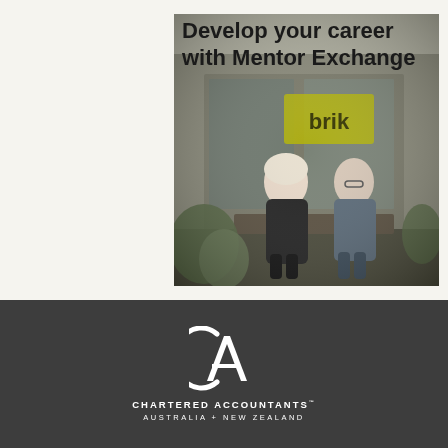Develop your career with Mentor Exchange
[Figure (photo): Two professionals, a woman in black and a man in a grey suit, sitting outdoors in front of a building with signage, engaged in conversation]
[Figure (logo): Chartered Accountants Australia + New Zealand logo — stylized CA monogram in white with text CHARTERED ACCOUNTANTS and AUSTRALIA + NEW ZEALAND below]